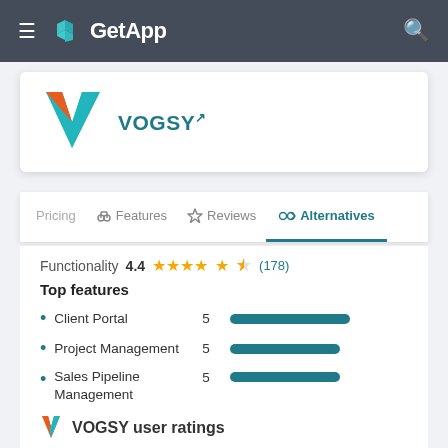GetApp
[Figure (logo): VOGSY logo - orange and teal V shape]
VOGSY
Pricing | Features | Reviews | Alternatives
Functionality 4.4 ★★★★½ (178)
Top features
Client Portal  5  ████████████
Project Management  5  ████████████
Sales Pipeline Management  5  ████████████
[Figure (logo): VOGSY small logo]
VOGSY user ratings
Functionality 4.5 ★★★★½ (22)